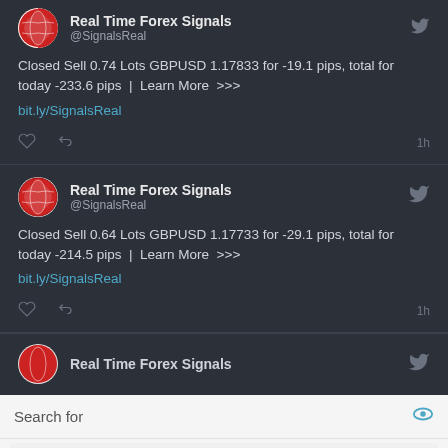[Figure (screenshot): Twitter/social media feed showing Real Time Forex Signals tweets on dark background. First tweet: 'Closed Sell 0.74 Lots GBPUSD 1.17833 for -19.1 pips, total for today -233.6 pips | Learn More >>> bit.ly/SignalsReal'. Second tweet: 'Closed Sell 0.64 Lots GBPUSD 1.17733 for -29.1 pips, total for today -214.5 pips | Learn More >>> bit.ly/SignalsReal'. Partial third tweet visible at bottom. Below is an ad section with search bar and two ad items: '5 EASY WAYS TO START INVESTING' and 'TOP 10 OPTIONS TO TRADE'. Footer: 'Ad | Business Focus'.]